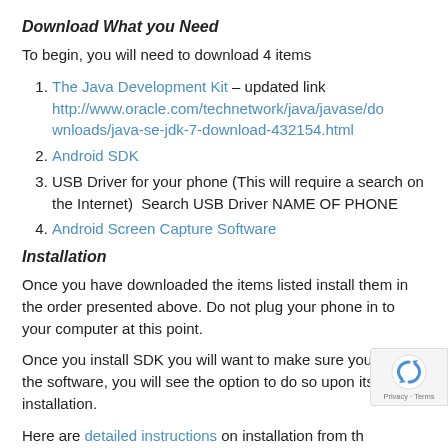Download What you Need
To begin, you will need to download 4 items
The Java Development Kit – updated link http://www.oracle.com/technetwork/java/javase/downloads/java-se-jdk-7-download-432154.html
Android SDK
USB Driver for your phone (This will require a search on the Internet)  Search USB Driver NAME OF PHONE
Android Screen Capture Software
Installation
Once you have downloaded the items listed install them in the order presented above. Do not plug your phone in to your computer at this point.
Once you install SDK you will want to make sure you update the software, you will see the option to do so upon its installation.
Here are detailed instructions on installation from the manufacturer of the Ashot Software. These instructions